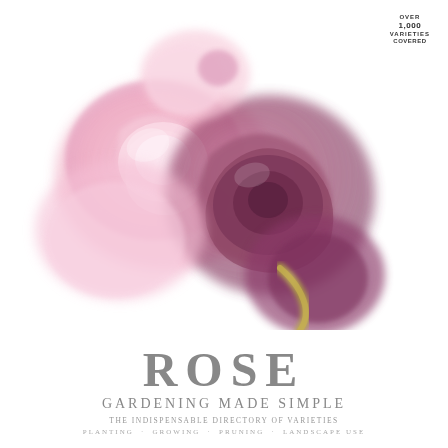[Figure (illustration): Watercolor-style illustration of roses in pink and deep mauve/purple tones with a golden-green stem, arranged as a bouquet against a white background]
ROSE
GARDENING MADE SIMPLE
THE INDISPENSABLE DIRECTORY OF VARIETIES
PLANTING · GROWING · PRUNING · LANDSCAPE USE